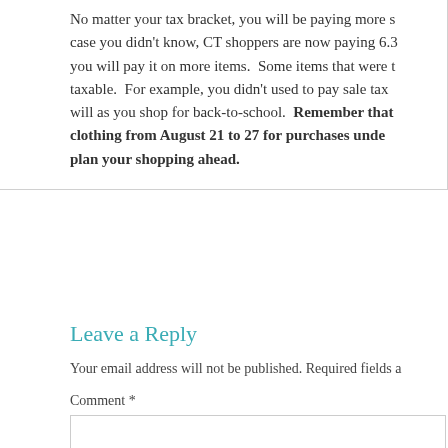No matter your tax bracket, you will be paying more s… case you didn't know, CT shoppers are now paying 6.3… you will pay it on more items. Some items that were t… taxable. For example, you didn't used to pay sale tax … will as you shop for back-to-school. Remember that … clothing from August 21 to 27 for purchases unde… plan your shopping ahead.
Leave a Reply
Your email address will not be published. Required fields a…
Comment *